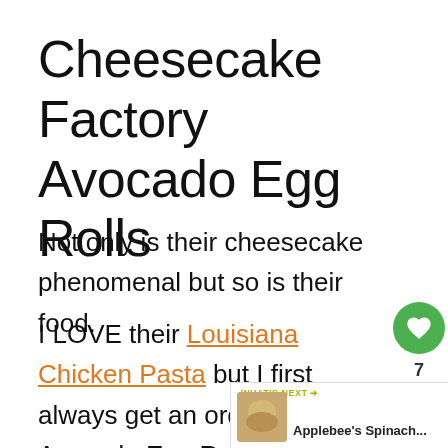Cheesecake Factory Avocado Egg Rolls
Not only is their cheesecake phenomenal but so is their food.
I LOVE their Louisiana Chicken Pasta but I first always get an order of Avocado Egg Rolls. If you don't have the restaurant near you, no worries! You can make these egg rolls right at ho…